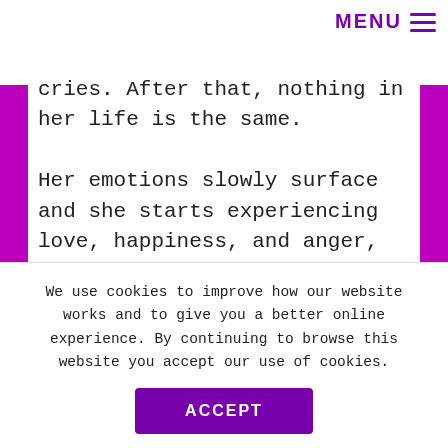MENU ☰
cries. After that, nothing in her life is the same.
Her emotions slowly surface and she starts experiencing love, happiness, and anger, feelings she never knew existed. But they leave her confused and she doesn't know whether to embrace them
We use cookies to improve how our website works and to give you a better online experience. By continuing to browse this website you accept our use of cookies.
ACCEPT